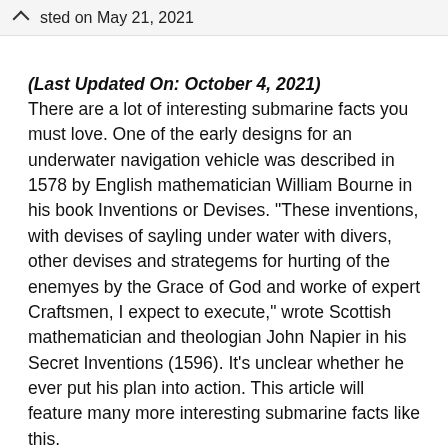sted on May 21, 2021
(Last Updated On: October 4, 2021) There are a lot of interesting submarine facts you must love. One of the early designs for an underwater navigation vehicle was described in 1578 by English mathematician William Bourne in his book Inventions or Devises. “These inventions, with devises of sayling under water with divers, other devises and strategems for hurting of the enemyes by the Grace of God and worke of expert Craftsmen, I expect to execute,” wrote Scottish mathematician and theologian John Napier in his Secret Inventions (1596). It’s unclear whether he ever put his plan into action. This article will feature many more interesting submarine facts like this.
Over a dozen submarine/submersible boat